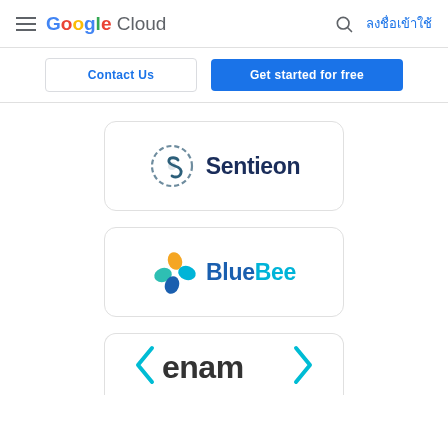Google Cloud — ลงชื่อเข้าใช้
Contact Us
Get started for free
[Figure (logo): Sentieon logo — circular S icon with dashed arc in dark teal/grey, with text 'Sentieon' in dark navy bold font]
[Figure (logo): BlueBee logo — four petal/leaf shapes in orange, teal, cyan, and dark blue, with text 'BlueBee' where 'Blue' is dark blue and 'Bee' is cyan]
[Figure (logo): enam logo — stylized text 'enam' in dark grey with cyan angle bracket decorations on left and right, partially visible at bottom]